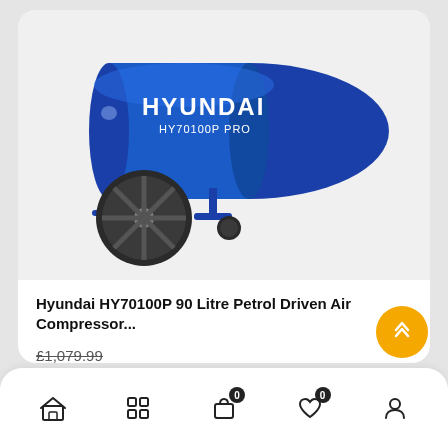[Figure (photo): Hyundai HY70100P PRO blue 90-litre petrol driven air compressor on wheels, shown from side angle against light background]
Hyundai HY70100P 90 Litre Petrol Driven Air Compressor...
£1,079.99
£999.99 Inc VAT
£833.33 (Ex VAT)